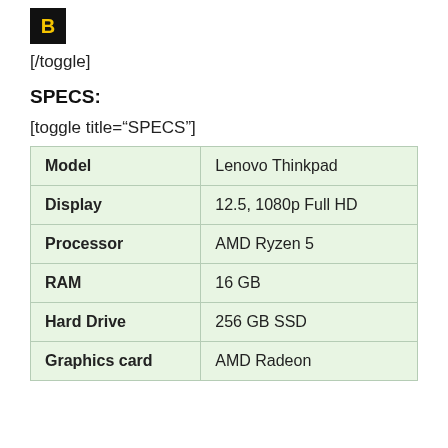[Figure (logo): Black square logo box with yellow letter B]
[/toggle]
SPECS:
[toggle title="SPECS"]
| Model | Lenovo Thinkpad |
| Display | 12.5, 1080p Full HD |
| Processor | AMD Ryzen 5 |
| RAM | 16 GB |
| Hard Drive | 256 GB SSD |
| Graphics card | AMD Radeon |